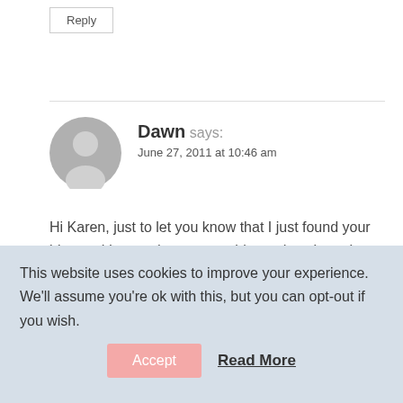Reply
[Figure (illustration): Gray circular avatar placeholder with silhouette of a person]
Dawn says:
June 27, 2011 at 10:46 am
Hi Karen, just to let you know that I just found your blog and I quoted you on my blog today about the “Made to Crave” book…thank you so much for your insights. I’m looking forward to reading more from you!
This website uses cookies to improve your experience. We'll assume you're ok with this, but you can opt-out if you wish.
Accept
Read More